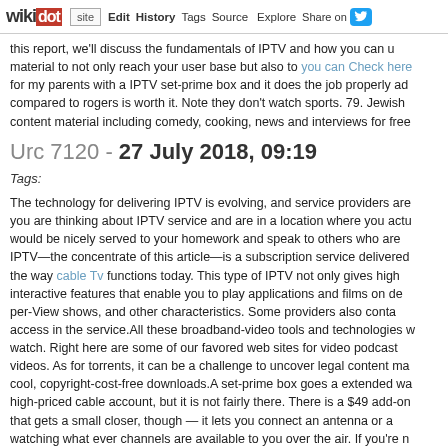wikidot | site | Edit | History | Tags | Source | Explore | Share on Twitter
this report, we'll discuss the fundamentals of IPTV and how you can u... material to not only reach your user base but also to you can Check here for my parents with a IPTV set-prime box and it does the job properly ad... compared to rogers is worth it. Note they don't watch sports. 79. Jewish... content material including comedy, cooking, news and interviews for free ...
Urc 7120 - 27 July 2018, 09:19
Tags:
The technology for delivering IPTV is evolving, and service providers are... you are thinking about IPTV service and are in a location where you actu... would be nicely served to your homework and speak to others who are... IPTV—the concentrate of this article—is a subscription service delivered... the way cable Tv functions today. This type of IPTV not only gives high... interactive features that enable you to play applications and films on de... per-View shows, and other characteristics. Some providers also conta... access in the service.All these broadband-video tools and technologies w... watch. Right here are some of our favored web sites for video podcast... videos. As for torrents, it can be a challenge to uncover legal content ma... cool, copyright-cost-free downloads.A set-prime box goes a extended wa... high-priced cable account, but it is not fairly there. There is a $49 add-on... that gets a small closer, though — it lets you connect an antenna or a... watching what ever channels are available to you over the air. If you're n... Methods take a look at the site. Normally those channels include the broa... along with a lot of public access and foreign-language channels, and... exactly where you happen to be positioned. It's a fantastic function, one p... channel-surf even with out cable — although you'll absolutely neverthele...